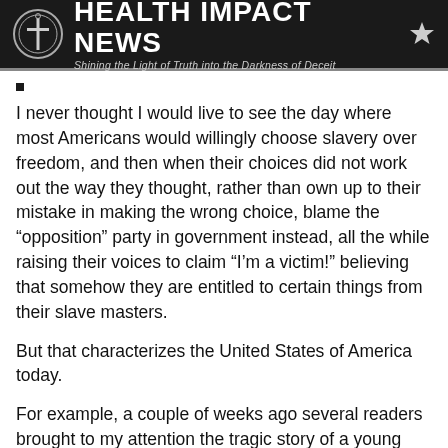HEALTH IMPACT NEWS — Shining the Light of Truth into the Darkness of Deceit
I never thought I would live to see the day where most Americans would willingly choose slavery over freedom, and then when their choices did not work out the way they thought, rather than own up to their mistake in making the wrong choice, blame the “opposition” party in government instead, all the while raising their voices to claim “I’m a victim!” believing that somehow they are entitled to certain things from their slave masters.
But that characterizes the United States of America today.
For example, a couple of weeks ago several readers brought to my attention the tragic story of a young mother who took one of the COVID shots and then ended up dying, leaving her small children behind.
It was a tragic, but typical story of the kind we have covered